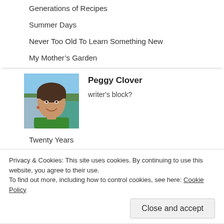Generations of Recipes
Summer Days
Never Too Old To Learn Something New
My Mother's Garden
[Figure (photo): Profile photo of Peggy Clover, a woman with short brown hair wearing a green top, outdoors with sky and greenery in background]
Peggy Clover
writer's block?
Twenty Years
More of Rebecca's shoes
Sea glass
Sears Appliance Salesman, 2002
Calendar Girl
Privacy & Cookies: This site uses cookies. By continuing to use this website, you agree to their use.
To find out more, including how to control cookies, see here: Cookie Policy
Close and accept